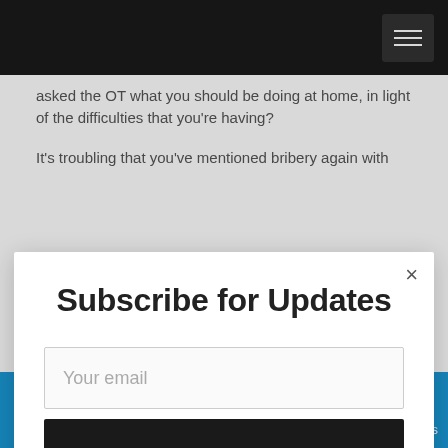Navigation bar with hamburger menu
asked the OT what you should be doing at home, in light of the difficulties that you're having?
It's troubling that you've mentioned bribery again with
Subscribe for Updates
Your email
Submit!
+ AddThis